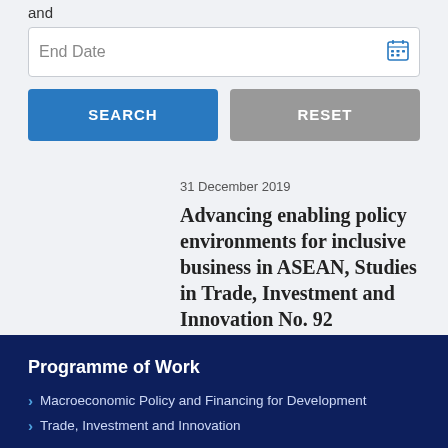and
End Date
SEARCH
RESET
31 December 2019
Advancing enabling policy environments for inclusive business in ASEAN, Studies in Trade, Investment and Innovation No. 92
Programme of Work
Macroeconomic Policy and Financing for Development
Trade, Investment and Innovation